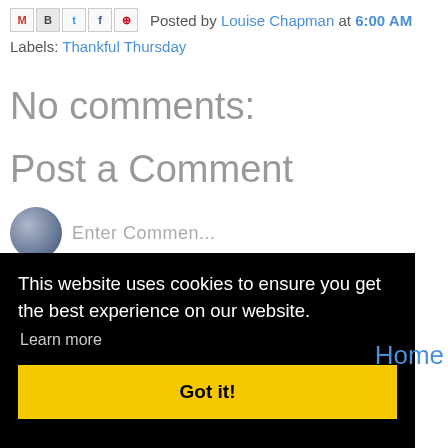Posted by Louise Chapman at 6:00 AM
Labels: Thankful Thursday
No comments:
Post a Comment
[Figure (other): User avatar circle icon (grey/blue gradient) with partial 'Enter Comment' text]
This website uses cookies to ensure you get the best experience on our website. Learn more
Got it!
Home